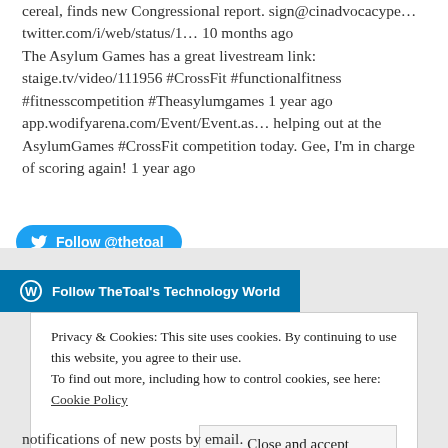cereal, finds new Congressional report. sign@cinadvocacype... twitter.com/i/web/status/1... 10 months ago The Asylum Games has a great livestream link: staige.tv/video/111956 #CrossFit #functionalfitness #fitnesscompetition #Theasylumgames 1 year ago app.wodifyarena.com/Event/Event.as... helping out at the AsylumGames #CrossFit competition today. Gee, I'm in charge of scoring again! 1 year ago
[Figure (other): Twitter Follow button: Follow @thetoal]
[Figure (other): WordPress Follow button: Follow TheToal's Technology World]
Privacy & Cookies: This site uses cookies. By continuing to use this website, you agree to their use. To find out more, including how to control cookies, see here: Cookie Policy
Close and accept
notifications of new posts by email.